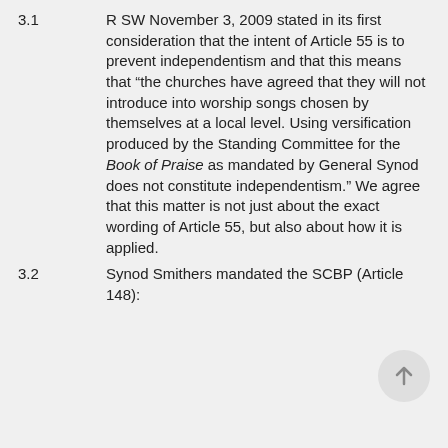3.1    R SW November 3, 2009 stated in its first consideration that the intent of Article 55 is to prevent independentism and that this means that “the churches have agreed that they will not introduce into worship songs chosen by themselves at a local level. Using versification produced by the Standing Committee for the Book of Praise as mandated by General Synod does not constitute independentism.” We agree that this matter is not just about the exact wording of Article 55, but also about how it is applied.
3.2    Synod Smithers mandated the SCBP (Article 148):